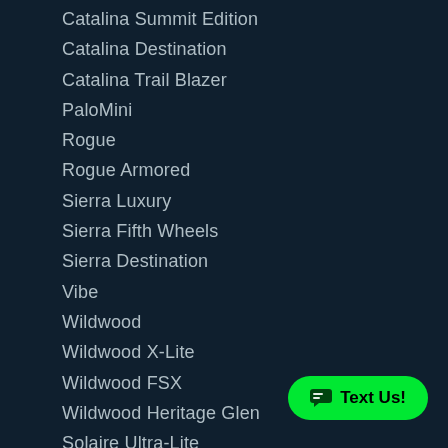Catalina Summit Edition
Catalina Destination
Catalina Trail Blazer
PaloMini
Rogue
Rogue Armored
Sierra Luxury
Sierra Fifth Wheels
Sierra Destination
Vibe
Wildwood
Wildwood X-Lite
Wildwood FSX
Wildwood Heritage Glen
Solaire Ultra-Lite
Solaire eXpandables
Wildwood Lodge
Hyper-Lyte
Wolf Run